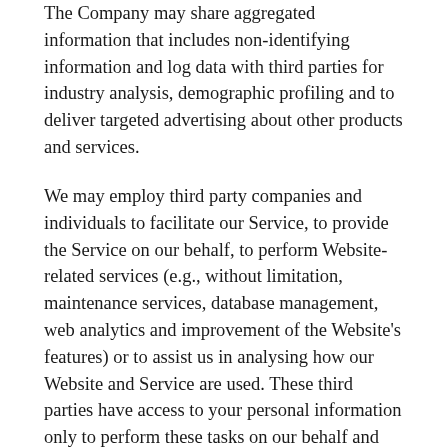The Company may share aggregated information that includes non-identifying information and log data with third parties for industry analysis, demographic profiling and to deliver targeted advertising about other products and services.
We may employ third party companies and individuals to facilitate our Service, to provide the Service on our behalf, to perform Website-related services (e.g., without limitation, maintenance services, database management, web analytics and improvement of the Website's features) or to assist us in analysing how our Website and Service are used. These third parties have access to your personal information only to perform these tasks on our behalf and are obligated not to disclose or use it for any other purpose. We may also provide personal information to our business partners or other trusted entities for the purpose of providing you with information on goods or services we believe will be of interest to you. You can, at any time, opt out